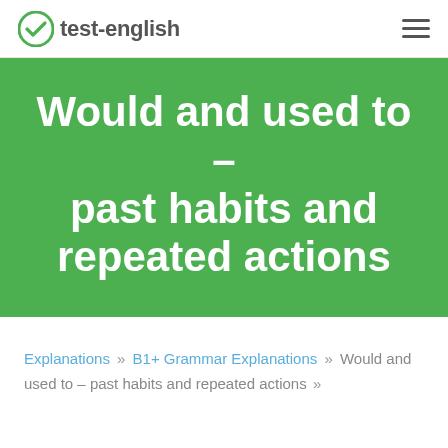test-english
Would and used to – past habits and repeated actions
Explanations » B1+ Grammar Explanations » Would and used to – past habits and repeated actions »